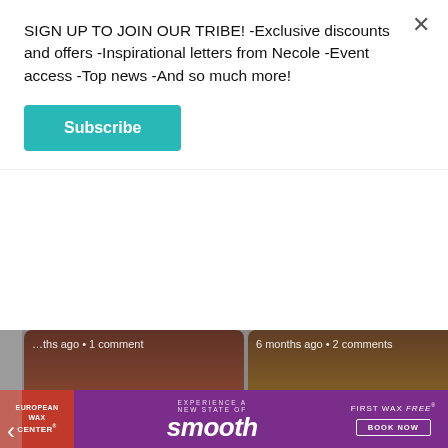SIGN UP TO JOIN OUR TRIBE! -Exclusive discounts and offers -Inspirational letters from Necole -Event access -Top news -And so much more!
Subscribe
[Figure (photo): Article card: Zoë Kravitz Recalls Growing Up Feeling ... — 6+ months ago, 1 comment]
[Figure (photo): Article card: How I Broke Free From A 7-Year ... — 6 months ago, 2 comments]
What do you think?
1 Response
[Figure (illustration): Row of emoji reaction icons: thumbs up, laughing, heart eyes, surprised, sleepy, sad]
[Figure (illustration): European Wax Center advertisement banner: EXPERIENCE A NEW STATE OF smooth - FIRST WAX free - BOOK NOW]